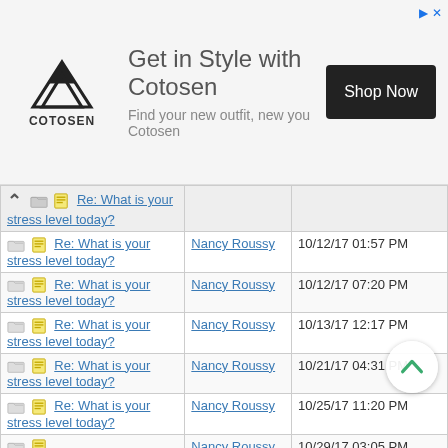[Figure (screenshot): Cotosen advertisement banner: mountain logo, 'Get in Style with Cotosen' headline, 'Find your new outfit, new you Cotosen' subtext, black 'Shop Now' button]
| Subject | Author | Date |
| --- | --- | --- |
| Re: What is your stress level today? |  |  |
| Re: What is your stress level today? | Nancy Roussy | 10/12/17 01:57 PM |
| Re: What is your stress level today? | Nancy Roussy | 10/12/17 07:20 PM |
| Re: What is your stress level today? | Nancy Roussy | 10/13/17 12:17 PM |
| Re: What is your stress level today? | Nancy Roussy | 10/21/17 04:31 PM |
| Re: What is your stress level today? | Nancy Roussy | 10/25/17 11:20 PM |
| Re: What is your stress level today? | Nancy Roussy | 10/29/17 03:05 PM |